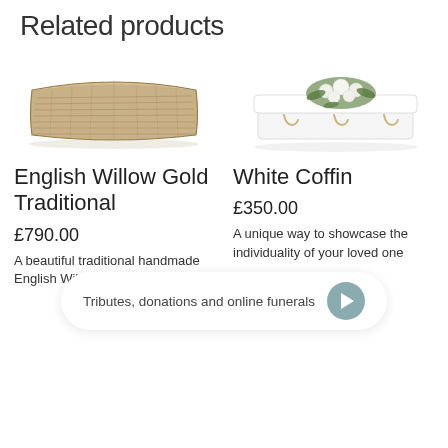Related products
[Figure (photo): Photo of a natural wicker/willow coffin on white background]
[Figure (photo): Photo of a white coffin with floral arrangement on top on white background]
English Willow Gold Traditional
White Coffin
£790.00
£350.00
A beautiful traditional handmade English Willow coffin
A unique way to showcase the individuality of your loved one